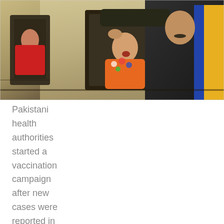[Figure (photo): A Pakistani health worker administers oral polio vaccine drops to a child leaning out of a train window. A man in a blue and yellow jacket watches nearby. Another child is visible through a window on the left.]
Pakistani health authorities started a vaccination campaign after new cases were reported in November.